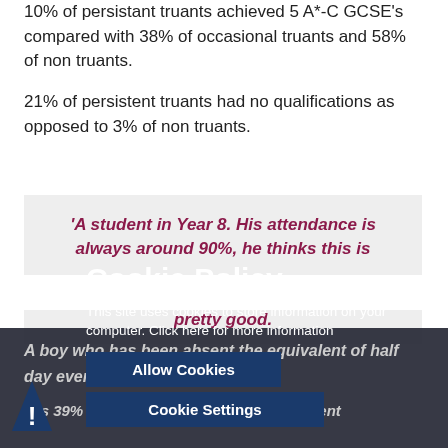10% of persistant truants achieved 5 A*-C GCSE's compared with 38% of occasional truants and 58% of non truants.
21% of persistent truants had no qualifications as opposed to 3% of non truants.
'A student in Year 8. His attendance is always around 90%, he thinks this is pretty good.
A boy who has been absent the equivalent of half a day every week...
...is 39% less likely to achieve the equivalent of 5 A*-C GCSEs as a student who attends whole weeks.
[Figure (other): Cookie Policy banner overlay with dark background, showing title 'Cookie Policy', descriptive text, 'Allow Cookies' and 'Cookie Settings' buttons, and a close X button. Also shows a warning exclamation icon at bottom left.]